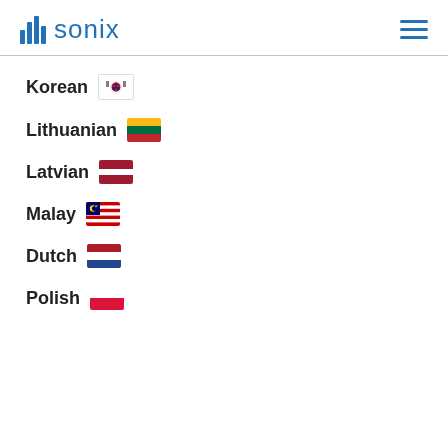sonix
Korean 🇰🇷
Lithuanian 🇱🇹
Latvian 🇱🇻
Malay 🇲🇾
Dutch 🇳🇱
Polish 🇵🇱